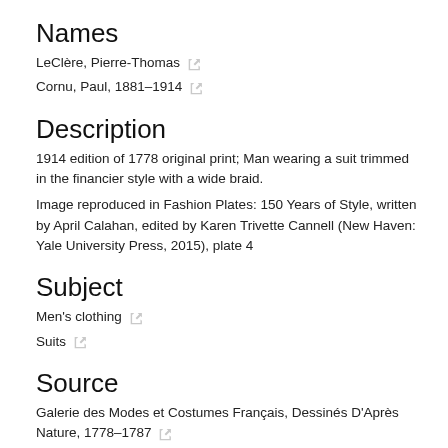Names
LeClère, Pierre-Thomas
Cornu, Paul, 1881-1914
Description
1914 edition of 1778 original print; Man wearing a suit trimmed in the financier style with a wide braid.
Image reproduced in Fashion Plates: 150 Years of Style, written by April Calahan, edited by Karen Trivette Cannell (New Haven: Yale University Press, 2015), plate 4
Subject
Men's clothing
Suits
Source
Galerie des Modes et Costumes Français, Dessinés D'Après Nature, 1778-1787